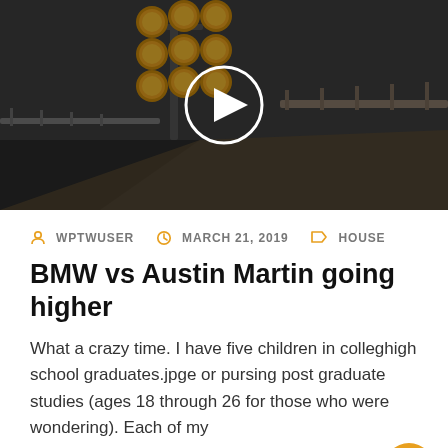[Figure (photo): Video thumbnail showing a road lamp/light cluster on a highway, dark moody background with a circular play button overlay in white]
WPTWUSER   MARCH 21, 2019   HOUSE
BMW vs Austin Martin going higher
What a crazy time. I have five children in colleghigh school graduates.jpge or pursing post graduate studies (ages 18 through 26 for those who were wondering). Each of my